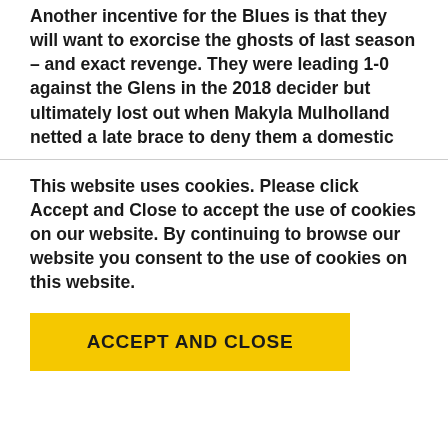Another incentive for the Blues is that they will want to exorcise the ghosts of last season – and exact revenge. They were leading 1-0 against the Glens in the 2018 decider but ultimately lost out when Makyla Mulholland netted a late brace to deny them a domestic
This website uses cookies. Please click Accept and Close to accept the use of cookies on our website. By continuing to browse our website you consent to the use of cookies on this website.
ACCEPT AND CLOSE